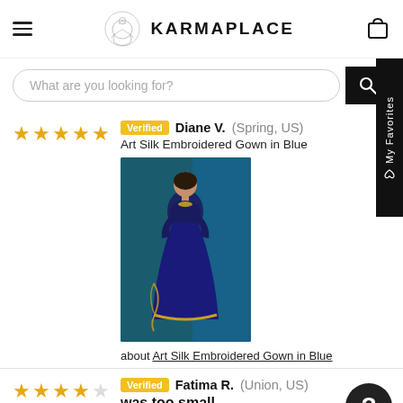KARMAPLACE
What are you looking for?
★★★★★ Verified Diane V. (Spring, US) Art Silk Embroidered Gown in Blue about Art Silk Embroidered Gown in Blue
[Figure (photo): Photo of a blue embroidered Art Silk Gown, model wearing a navy blue floor-length gown with gold embroidery on a teal background.]
about Art Silk Embroidered Gown in Blue
★★★★☆ Verified Fatima R. (Union, US) was too small quality is great. shirt too small. pants were